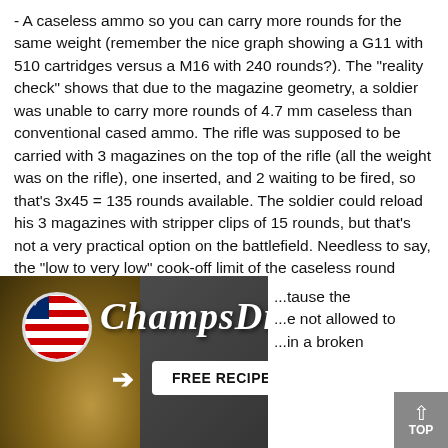- A caseless ammo so you can carry more rounds for the same weight (remember the nice graph showing a G11 with 510 cartridges versus a M16 with 240 rounds?). The "reality check" shows that due to the magazine geometry, a soldier was unable to carry more rounds of 4.7 mm caseless than conventional cased ammo. The rifle was supposed to be carried with 3 magazines on the top of the rifle (all the weight was on the rifle), one inserted, and 2 waiting to be fired, so that's 3x45 = 135 rounds available. The soldier could reload his 3 magazines with stripper clips of 15 rounds, but that's not a very practical option on the battlefield. Needless to say, the "low to very low" cook-off limit of the caseless round would have made the "battle of Wanat" a common occurrence.
- A free recoiling barrel assembly so you could fire 3 rounds at very high rpm with great accuracy and increased hit probability. Again, the "reality check" showed that even at 2200 rpm on a free recoiling assembly, the shot-to-shot dispersion was too high to increase hit probability, best results were achieved using
[Figure (other): ChampsDiet advertisement overlay with flag circle logo, cursive brand name text, FREE RECIPES button with arrows, food imagery background, and a close button (X). Partially overlaps the text content below.]
...tause the ...e not allowed to ...in a broken